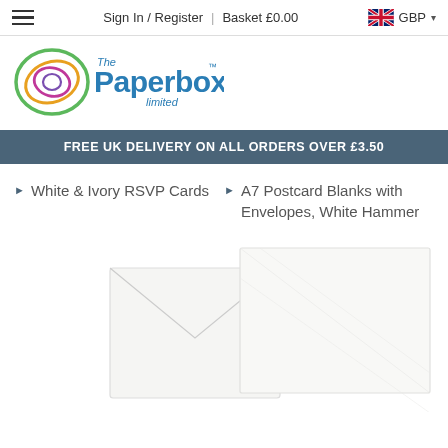Sign In / Register | Basket £0.00 GBP
[Figure (logo): The Paperbox Limited logo with circular concentric oval design in green, orange, pink and a blue wordmark]
FREE UK DELIVERY ON ALL ORDERS OVER £3.50
White & Ivory RSVP Cards
A7 Postcard Blanks with Envelopes, White Hammer
[Figure (photo): White textured envelopes and card blanks partially visible at bottom of page]